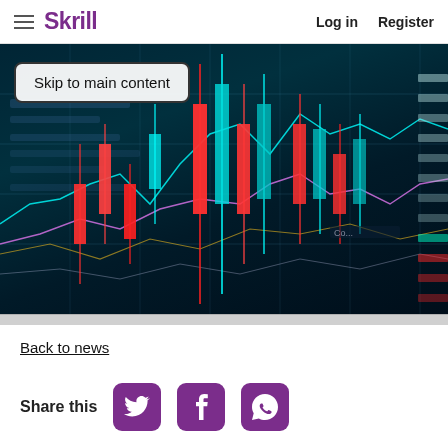Skrill | Log in | Register
[Figure (screenshot): Skrill website screenshot showing a financial trading chart hero image with candlestick chart overlay on dark teal/navy background, with a 'Skip to main content' button overlay]
Back to news
Share this